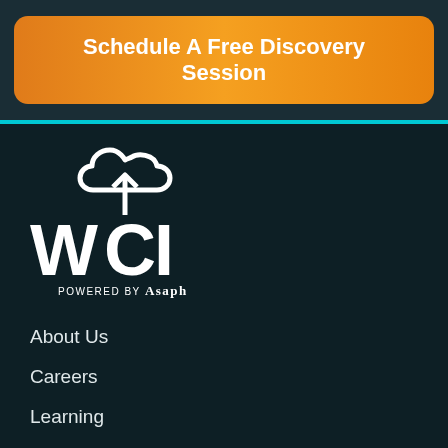[Figure (logo): Orange rounded rectangle button with white bold text reading 'Schedule A Free Discovery Session']
[Figure (logo): WCI logo: white cloud icon above large white WCI letters with an upward arrow, text 'POWERED BY Asaph' below, on dark background]
About Us
Careers
Learning
Let's Chat